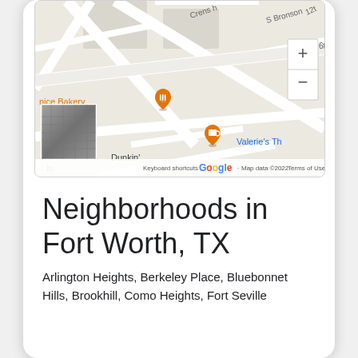[Figure (map): Google Maps screenshot showing street map of Fort Worth, TX area with roads labeled Crenshaw, S Bronson, 12th, 6th Ave. Orange map pins visible for restaurant/food locations. Dunkin' label visible. Business 'nice Bakery' partially visible on left, 'Valerie's Th' partially visible on right. Google logo and map controls shown. Street view thumbnail visible.]
Neighborhoods in Fort Worth, TX
Arlington Heights, Berkeley Place, Bluebonnet Hills, Brookhill, Como Heights, Fort Seville